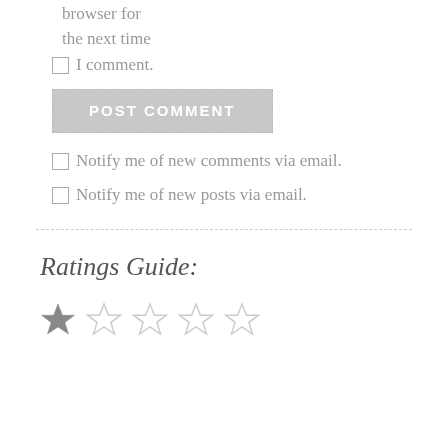browser for the next time
I comment.
POST COMMENT
Notify me of new comments via email.
Notify me of new posts via email.
Ratings Guide:
[Figure (other): One filled star followed by four empty stars representing a 1-star rating in a ratings guide]